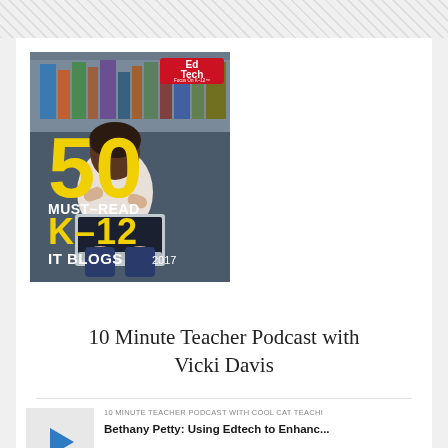[Figure (illustration): EdTech magazine cover: '50 Must-Read K-12 IT Blogs 2017' with a child using a laptop, yellow large numerals '50' prominently displayed, EdTech red logo top right]
10 Minute Teacher Podcast with Vicki Davis
10 MINUTE TEACHER PODCAST WITH COOL CAT TEACHI
Bethany Petty: Using Edtech to Enhanc...